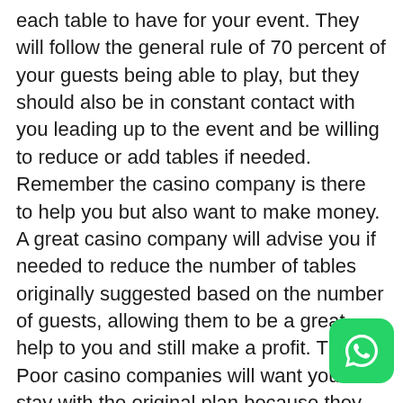each table to have for your event. They will follow the general rule of 70 percent of your guests being able to play, but they should also be in constant contact with you leading up to the event and be willing to reduce or add tables if needed. Remember the casino company is there to help you but also want to make money. A great casino company will advise you if needed to reduce the number of tables originally suggested based on the number of guests, allowing them to be a great help to you and still make a profit. The Poor casino companies will want you to stay with the original plan because they will make more money. The point here is that if you have too few tables then your guests can't play meaning they can't donate money to the event, and if you
[Figure (logo): WhatsApp green rounded square icon with white phone handset]